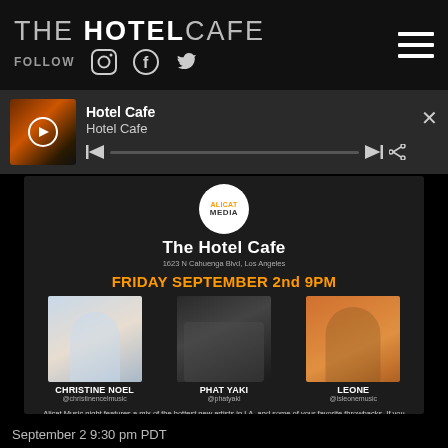THE HOTEL CAFE
FOLLOW
[Figure (screenshot): Hotel Cafe media player bar showing thumbnail, title 'Hotel Cafe', subtitle 'Hotel Cafe', progress bar, and playback controls]
[Figure (infographic): Alicat Media event flyer for The Hotel Cafe, 1623 N Cahuenga Blvd, Los Angeles. Friday September 2nd 9PM featuring Christine Noel (@christinencelmusic), Phat Yaki (@phatyaki), Leone (@isleonemusic). Description: Alicat Music night features a mix of the hottest new artists in LA, and some of your favorite throwbacks. If you like real musicians and live music like it should be done, come through! RnB, soul, pop, funk, hip hop... the vibes are right and the play is tight. We better see you there! www.alisonballmedia.com]
September 2 9:30 pm PDT